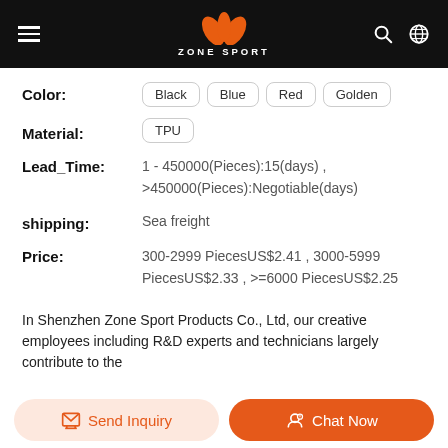ZONE SPORT
Color: Black  Blue  Red  Golden
Material: TPU
Lead_Time: 1 - 450000(Pieces):15(days) , >450000(Pieces):Negotiable(days)
shipping: Sea freight
Price: 300-2999 PiecesUS$2.41 , 3000-5999 PiecesUS$2.33 , >=6000 PiecesUS$2.25
In Shenzhen Zone Sport Products Co., Ltd, our creative employees including R&D experts and technicians largely contribute to the
Send Inquiry   Chat Now